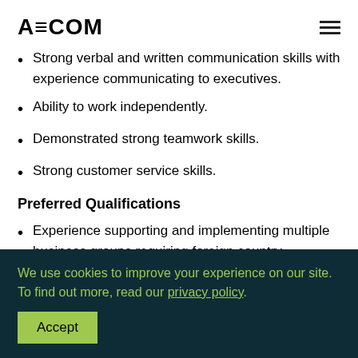AECOM
Strong verbal and written communication skills with experience communicating to executives.
Ability to work independently.
Demonstrated strong teamwork skills.
Strong customer service skills.
Preferred Qualifications
Experience supporting and implementing multiple business groups requiring foreign country localizations is preferred.
We use cookies to improve your experience on our site. To find out more, read our privacy policy.